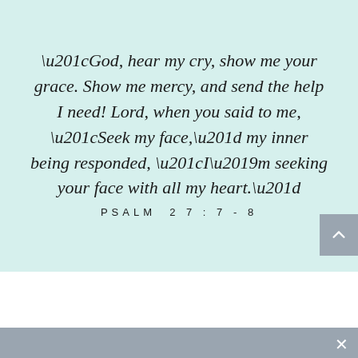“God, hear my cry, show me your grace. Show me mercy, and send the help I need! Lord, when you said to me, “Seek my face,” my inner being responded, “I’m seeking your face with all my heart.”
PSALM 27:7-8